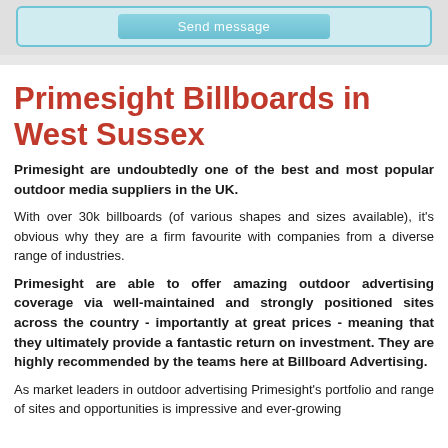[Figure (screenshot): Send message button partially visible at top]
Primesight Billboards in West Sussex
Primesight are undoubtedly one of the best and most popular outdoor media suppliers in the UK.
With over 30k billboards (of various shapes and sizes available), it's obvious why they are a firm favourite with companies from a diverse range of industries.
Primesight are able to offer amazing outdoor advertising coverage via well-maintained and strongly positioned sites across the country - importantly at great prices - meaning that they ultimately provide a fantastic return on investment. They are highly recommended by the teams here at Billboard Advertising.
As market leaders in outdoor advertising Primesight's portfolio and range of sites and opportunities is impressive and ever-growing